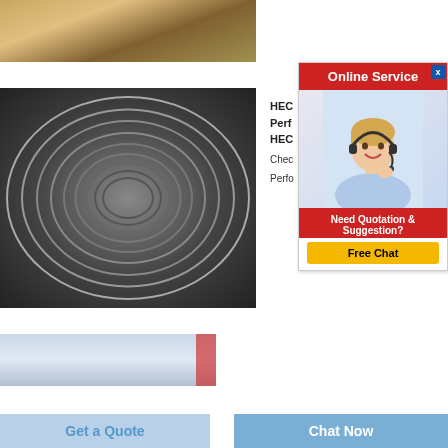[Figure (photo): Top photo of packaged/stacked materials with brown/orange coloring]
[Figure (photo): Circular tunnel/pipe interior with concentric rings and blocks at bottom]
[Figure (photo): Partial bottom photo of industrial interior, bluish tones]
[Figure (screenshot): Online Service popup with red header, customer service agent photo, Need Quotation & Suggestion text, Free Chat button]
HEC
Perf
HEC
Chec
Perfo
Get a Quote
Chat Now